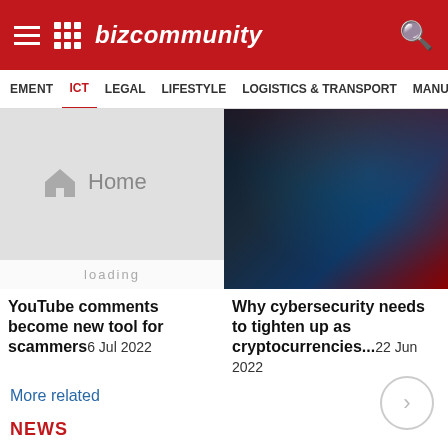Bizcommunity
[Figure (screenshot): Website navigation bar showing menu items: EMENT, ICT (active/selected in red), LEGAL, LIFESTYLE, LOGISTICS & TRANSPORT, MANUFA...]
[Figure (screenshot): Article thumbnail: browser loading screen showing home icon and 'Home' text with 'loading...' overlay]
[Figure (photo): Article thumbnail: person holding cryptocurrency coins under red-tinted lighting]
YouTube comments become new tool for scammers6 Jul 2022
Why cybersecurity needs to tighten up as cryptocurrencies...22 Jun 2022
More related
NEWS
LOADING...